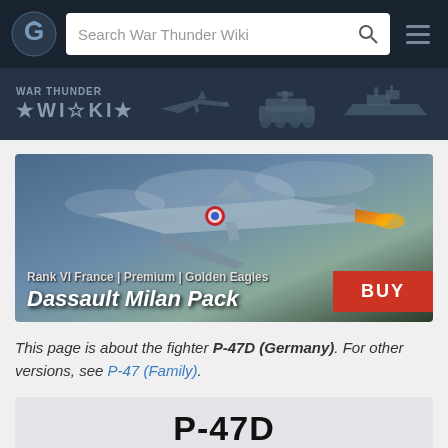Search War Thunder Wiki
[Figure (screenshot): War Thunder Wiki navigation bar with logo, airplane silhouette, tank silhouette, and ship silhouette icons on dark background]
[Figure (photo): Advertisement banner for Dassault Milan Pack showing fighter jet with text: Rank VI France | Premium | Golden Eagles, Dassault Milan Pack, BUY button]
This page is about the fighter P-47D (Germany). For other versions, see P-47 (Family).
P-47D
[Figure (photo): Bottom portion of P-47D aircraft or ground vehicle photo, partially visible]